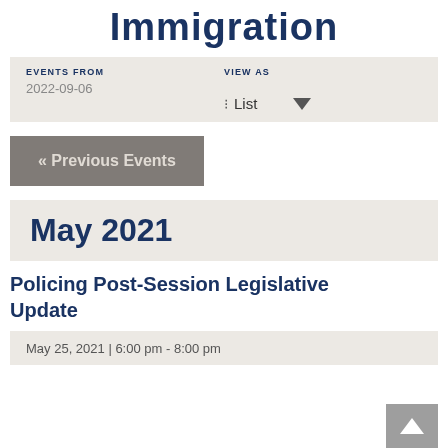Immigration
EVENTS FROM
2022-09-06
VIEW AS
List
« Previous Events
May 2021
Policing Post-Session Legislative Update
May 25, 2021 | 6:00 pm - 8:00 pm